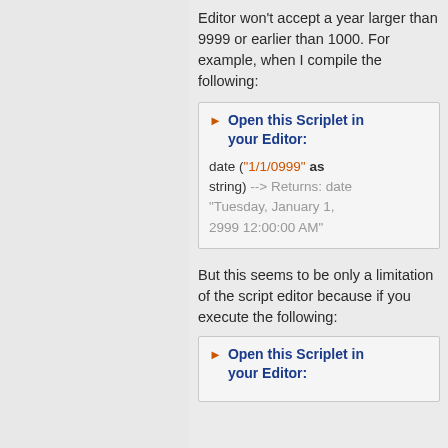Editor won't accept a year larger than 9999 or earlier than 1000. For example, when I compile the following:
[Figure (screenshot): Scriplet box with header 'Open this Scriplet in your Editor:' and code: date ("1/1/0999" as string) --> Returns: date "Tuesday, January 1, 2999 12:00:00 AM"]
But this seems to be only a limitation of the script editor because if you execute the following:
[Figure (screenshot): Scriplet box with header 'Open this Scriplet in your Editor:']